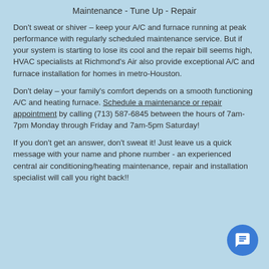Maintenance - Tune Up - Repair
Don't sweat or shiver – keep your A/C and furnace running at peak performance with regularly scheduled maintenance service. But if your system is starting to lose its cool and the repair bill seems high, HVAC specialists at Richmond's Air also provide exceptional A/C and furnace installation for homes in metro-Houston.
Don't delay – your family's comfort depends on a smooth functioning A/C and heating furnace. Schedule a maintenance or repair appointment by calling (713) 587-6845 between the hours of 7am-7pm Monday through Friday and 7am-5pm Saturday!
If you don't get an answer, don't sweat it! Just leave us a quick message with your name and phone number - an experienced central air conditioning/heating maintenance, repair and installation specialist will call you right back!!